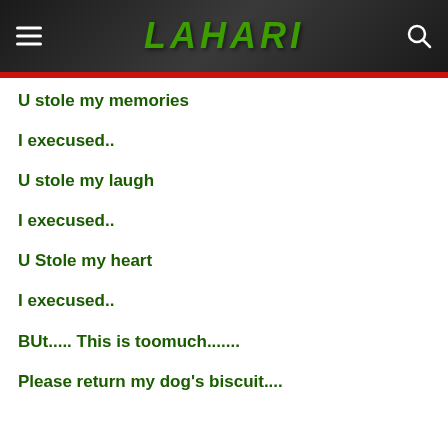LAHARI
U stole my memories
I execused..
U stole my laugh
I execused..
U Stole my heart
I execused..
BUt..... This is toomuch.......
Please return my dog's biscuit....